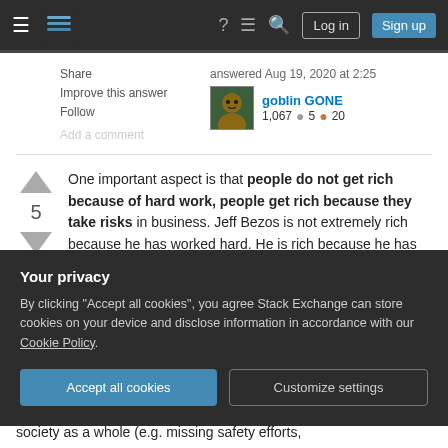Stack Exchange navigation bar with Log in and Sign up buttons
Share | Improve this answer | Follow | Add a comment
answered Aug 19, 2020 at 2:25 goblin GONE 1,067 ● 5 ● 20
One important aspect is that people do not get rich because of hard work, people get rich because they take risks in business. Jeff Bezos is not extremely rich because he has worked hard. He is rich because he has taken several risks that has
Your privacy
By clicking "Accept all cookies", you agree Stack Exchange can store cookies on your device and disclose information in accordance with our Cookie Policy.
Accept all cookies | Customize settings
society as a whole (e.g. missing safety efforts,